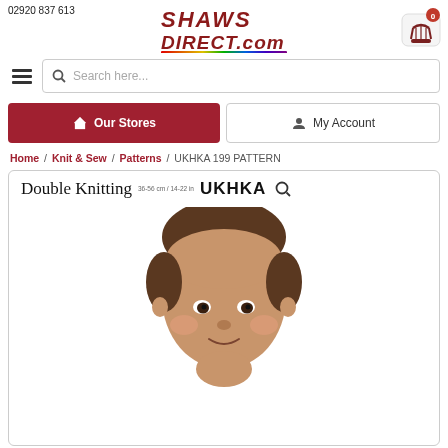02920 837 613
[Figure (logo): ShawsDirect.com logo with rainbow stripe]
[Figure (other): Shopping cart icon with badge showing 0]
[Figure (other): Hamburger menu icon and search bar with placeholder 'Search here...']
Our Stores
My Account
Home / Knit & Sew / Patterns / UKHKA 199 PATTERN
[Figure (photo): Product card showing 'Double Knitting' pattern cover with UKHKA brand, size info 36-56 cm / 14-22 in, magnifying glass icon, and partial photo of a baby's face]